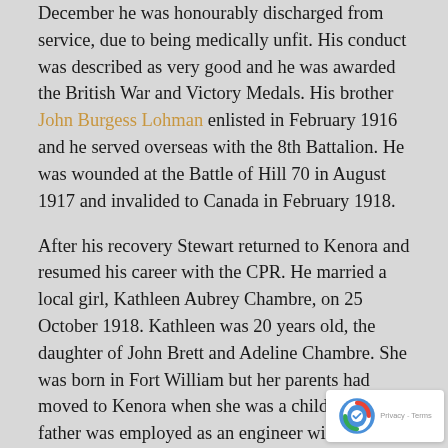December he was honourably discharged from service, due to being medically unfit. His conduct was described as very good and he was awarded the British War and Victory Medals. His brother John Burgess Lohman enlisted in February 1916 and he served overseas with the 8th Battalion. He was wounded at the Battle of Hill 70 in August 1917 and invalided to Canada in February 1918.
After his recovery Stewart returned to Kenora and resumed his career with the CPR. He married a local girl, Kathleen Aubrey Chambre, on 25 October 1918. Kathleen was 20 years old, the daughter of John Brett and Adeline Chambre. She was born in Fort William but her parents had moved to Kenora when she was a child. Her father was employed as an engineer with the CPR. After they were married Stewart and Kathleen lived in Fort William but by the time of the 1921 census they were back in Kenora. They had two children, a daughter Gladys and son Albert (Bert). Stewart became a conductor with the CPR but he left their services in 1933. After that he worked